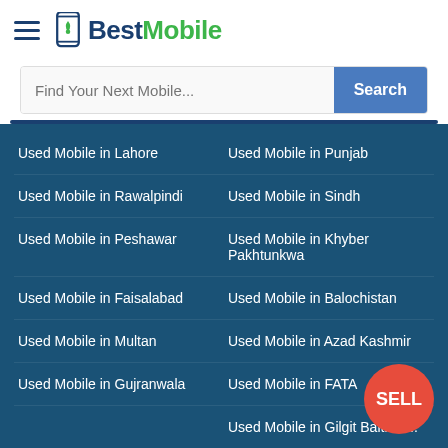[Figure (logo): BestMobile logo with hamburger menu icon, phone icon and text 'BestMobile' in blue and green]
Find Your Next Mobile...
Used Mobile in Lahore
Used Mobile in Punjab
Used Mobile in Rawalpindi
Used Mobile in Sindh
Used Mobile in Peshawar
Used Mobile in Khyber Pakhtunkwa
Used Mobile in Faisalabad
Used Mobile in Balochistan
Used Mobile in Multan
Used Mobile in Azad Kashmir
Used Mobile in Gujranwala
Used Mobile in FATA
Used Mobile in Gilgit Baltista...